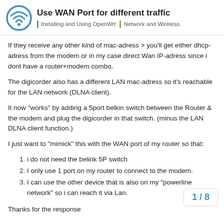Use WAN Port for different traffic | Installing and Using OpenWrt | Network and Wireless
If they receive any other kind of mac-adress > you'll get either dhcp-adress from the modem or in my case direct Wan IP-adress since i dont have a router+modem combo.
The digicorder also has a different LAN mac-adress so it's reachable for the LAN network (DLNA client).
It now "works" by adding a 5port belkin switch between the Router & the modem and plug the digicorder in that switch. (minus the LAN DLNA client function.)
I just want to "mimick" this with the WAN port of my router so that:
i do not need the belink 5P switch
I only use 1 port on my router to connect to the modem.
I can use the other device that is also on my "powerline network" so i can reach it via Lan.
Thanks for the response
1 / 8